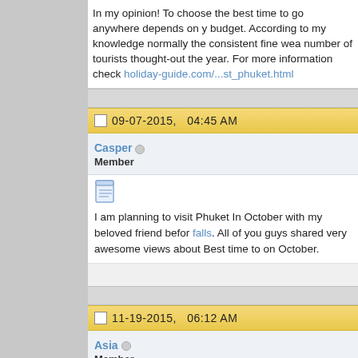In my opinion! To choose the best time to go anywhere depends on y budget. According to my knowledge normally the consistent fine wea number of tourists thought-out the year. For more information check holiday-guide.com/...st_phuket.html
09-07-2015,   04:45 AM
Casper
Member
I am planning to visit Phuket In October with my beloved friend befor falls. All of you guys shared very awesome views about Best time to on October.
11-19-2015,   06:12 AM
Asia
Member